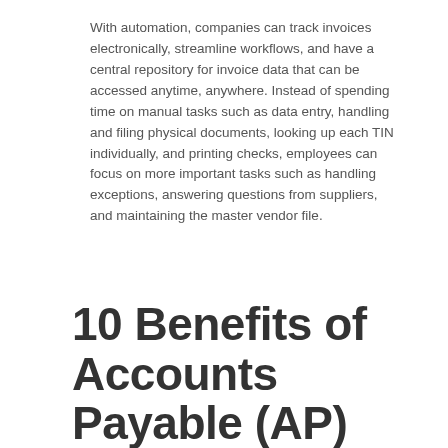With automation, companies can track invoices electronically, streamline workflows, and have a central repository for invoice data that can be accessed anytime, anywhere. Instead of spending time on manual tasks such as data entry, handling and filing physical documents, looking up each TIN individually, and printing checks, employees can focus on more important tasks such as handling exceptions, answering questions from suppliers, and maintaining the master vendor file.
10 Benefits of Accounts Payable (AP)